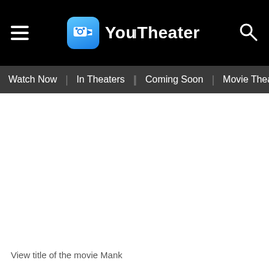YouTheater
Watch Now
In Theaters
Coming Soon
Movie Theaters
View title of the movie Mank